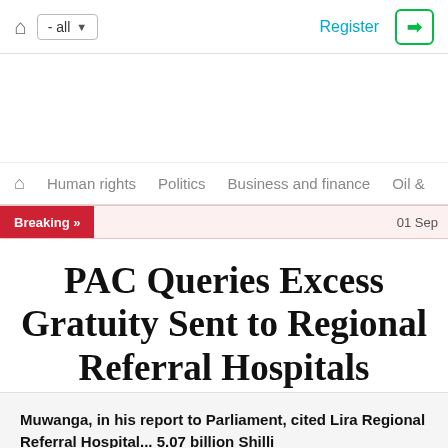Home | - all ▾ | Register | [Login button]
Home | Human rights | Politics | Business and finance | Oil &
Breaking » | 01 Sep
PAC Queries Excess Gratuity Sent to Regional Referral Hospitals
Muwanga, in his report to Parliament, cited Lira Regional Referral Hospital... 5.07 billion Shilli...